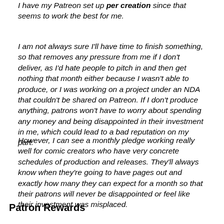I have my Patreon set up per creation since that seems to work the best for me.
I am not always sure I'll have time to finish something, so that removes any pressure from me if I don't deliver, as I'd hate people to pitch in and then get nothing that month either because I wasn't able to produce, or I was working on a project under an NDA that couldn't be shared on Patreon. If I don't produce anything, patrons won't have to worry about spending any money and being disappointed in their investment in me, which could lead to a bad reputation on my part.
However, I can see a monthly pledge working really well for comic creators who have very concrete schedules of production and releases. They'll always know when they're going to have pages out and exactly how many they can expect for a month so that their patrons will never be disappointed or feel like their investment was misplaced.
Patron Rewards